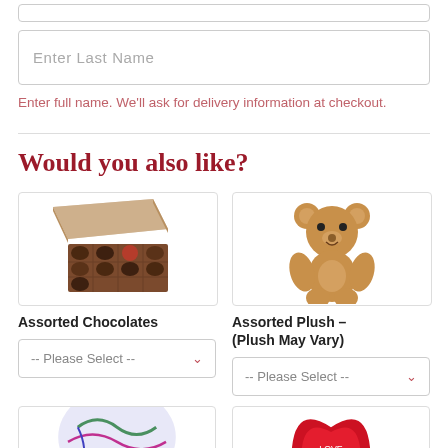Enter Last Name
Enter full name. We'll ask for delivery information at checkout.
Would you also like?
[Figure (photo): Box of assorted chocolates with a lid open showing chocolates inside]
Assorted Chocolates
-- Please Select --
[Figure (photo): A stuffed teddy bear plush toy]
Assorted Plush - (Plush May Vary)
-- Please Select --
[Figure (photo): Colorful balloon partially visible at bottom]
[Figure (photo): Red heart-shaped balloon partially visible at bottom]